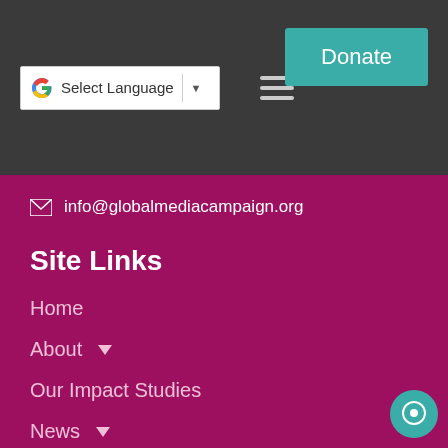Select Language | Donate
info@globalmediacampaign.org
Site Links
Home
About
Our Impact Studies
News
Newsletter